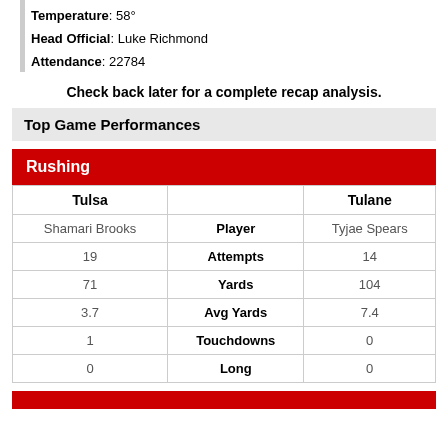Where: Yulman Stadium, New Orleans, Louisiana
Temperature: 58°
Head Official: Luke Richmond
Attendance: 22784
Check back later for a complete recap analysis.
Top Game Performances
Rushing
| Tulsa |  | Tulane |
| --- | --- | --- |
| Shamari Brooks | Player | Tyjae Spears |
| 19 | Attempts | 14 |
| 71 | Yards | 104 |
| 3.7 | Avg Yards | 7.4 |
| 1 | Touchdowns | 0 |
| 0 | Long | 0 |